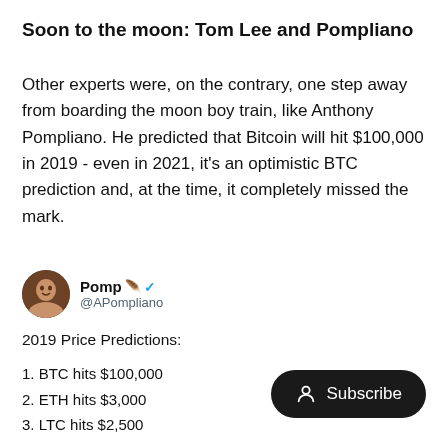Soon to the moon: Tom Lee and Pompliano
Other experts were, on the contrary, one step away from boarding the moon boy train, like Anthony Pompliano. He predicted that Bitcoin will hit $100,000 in 2019 - even in 2021, it's an optimistic BTC prediction and, at the time, it completely missed the mark.
[Figure (screenshot): Tweet from @APompliano (Pomp) showing 2019 Price Predictions: 1. BTC hits $100,000 2. ETH hits $3,000 3. LTC hits $2,500 4. XRP hits $10 (partially visible)]
[Figure (other): Subscribe button (dark rounded pill button with person icon and text 'Subscribe')]